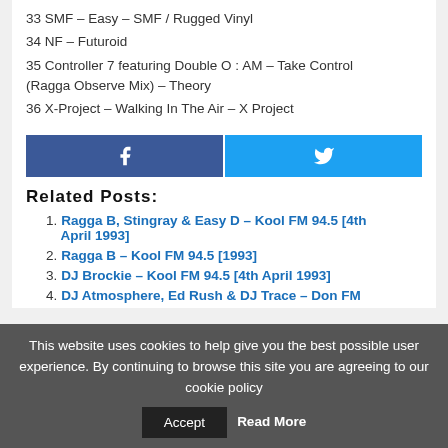33 SMF – Easy – SMF / Rugged Vinyl
34 NF – Futuroid
35 Controller 7 featuring Double O : AM – Take Control (Ragga Observe Mix) – Theory
36 X-Project – Walking In The Air – X Project
[Figure (other): Facebook and Twitter share buttons]
Related Posts:
1. Ragga B, Stingray & Easy D – Kool FM 94.5 [4th April 1993]
2. Ragga B – Kool FM 94.5 [1993]
3. DJ Brockie – Kool FM 94.5 [4th April 1993]
4. DJ Atmosphere, Ed Rush & DJ Trace – Don FM
This website uses cookies to help give you the best possible user experience. By continuing to browse this site you are agreeing to our cookie policy  Accept  Read More